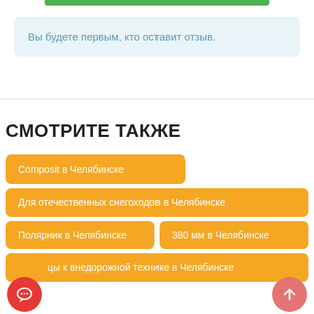Вы будете первым, кто оставит отзыв.
СМОТРИТЕ ТАКЖЕ
Composit в Челябинске
Для отечественных снегоходов в Челябинске
Полярник в Челябинске
380 мм в Челябинске
цы к внедорожной технике в Челябинске